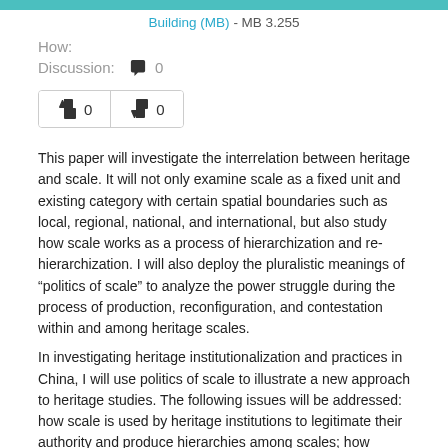Building (MB) - MB 3.255
How:
Discussion: 0
This paper will investigate the interrelation between heritage and scale. It will not only examine scale as a fixed unit and existing category with certain spatial boundaries such as local, regional, national, and international, but also study how scale works as a process of hierarchization and re-hierarchization. I will also deploy the pluralistic meanings of “politics of scale” to analyze the power struggle during the process of production, reconfiguration, and contestation within and among heritage scales.
In investigating heritage institutionalization and practices in China, I will use politics of scale to illustrate a new approach to heritage studies. The following issues will be addressed: how scale is used by heritage institutions to legitimate their authority and produce hierarchies among scales; how heritage discourse is reinforced and affects other scales based on the power